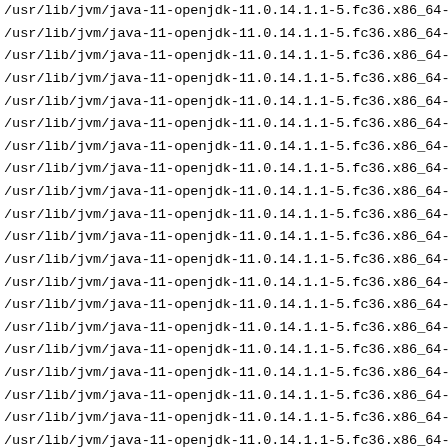/usr/lib/jvm/java-11-openjdk-11.0.14.1.1-5.fc36.x86_64-s
/usr/lib/jvm/java-11-openjdk-11.0.14.1.1-5.fc36.x86_64-s
/usr/lib/jvm/java-11-openjdk-11.0.14.1.1-5.fc36.x86_64-s
/usr/lib/jvm/java-11-openjdk-11.0.14.1.1-5.fc36.x86_64-s
/usr/lib/jvm/java-11-openjdk-11.0.14.1.1-5.fc36.x86_64-s
/usr/lib/jvm/java-11-openjdk-11.0.14.1.1-5.fc36.x86_64-s
/usr/lib/jvm/java-11-openjdk-11.0.14.1.1-5.fc36.x86_64-s
/usr/lib/jvm/java-11-openjdk-11.0.14.1.1-5.fc36.x86_64-s
/usr/lib/jvm/java-11-openjdk-11.0.14.1.1-5.fc36.x86_64-s
/usr/lib/jvm/java-11-openjdk-11.0.14.1.1-5.fc36.x86_64-s
/usr/lib/jvm/java-11-openjdk-11.0.14.1.1-5.fc36.x86_64-s
/usr/lib/jvm/java-11-openjdk-11.0.14.1.1-5.fc36.x86_64-s
/usr/lib/jvm/java-11-openjdk-11.0.14.1.1-5.fc36.x86_64-s
/usr/lib/jvm/java-11-openjdk-11.0.14.1.1-5.fc36.x86_64-s
/usr/lib/jvm/java-11-openjdk-11.0.14.1.1-5.fc36.x86_64-s
/usr/lib/jvm/java-11-openjdk-11.0.14.1.1-5.fc36.x86_64-s
/usr/lib/jvm/java-11-openjdk-11.0.14.1.1-5.fc36.x86_64-s
/usr/lib/jvm/java-11-openjdk-11.0.14.1.1-5.fc36.x86_64-s
/usr/lib/jvm/java-11-openjdk-11.0.14.1.1-5.fc36.x86_64-s
/usr/lib/jvm/java-11-openjdk-11.0.14.1.1-5.fc36.x86_64-s
/usr/lib/jvm/java-11-openjdk-11.0.14.1.1-5.fc36.x86_64-s
/usr/lib/jvm/java-11-openjdk-11.0.14.1.1-5.fc36.x86_64-s
/usr/lib/jvm/java-11-openjdk-11.0.14.1.1-5.fc36.x86_64-s
/usr/lib/jvm/java-11-openjdk-11.0.14.1.1-5.fc36.x86_64-s
/usr/lib/jvm/java-11-openjdk-11.0.14.1.1-5.fc36.x86_64-s
/usr/lib/jvm/java-11-openjdk-11.0.14.1.1-5.fc36.x86_64-s
/usr/lib/jvm/java-11-openjdk-11.0.14.1.1-5.fc36.x86_64-s
/usr/lib/jvm/java-11-openjdk-11.0.14.1.1-5.fc36.x86_64-s
/usr/lib/jvm/java-11-openjdk-11.0.14.1.1-5.fc36.x86_64-s
/usr/lib/jvm/java-11-openjdk-11.0.14.1.1-5.fc36.x86_64-s